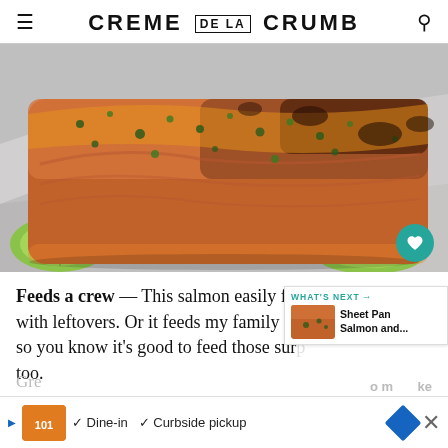CREME DE LA CRUMB
[Figure (photo): Close-up photo of broiled/baked salmon fillet on foil, topped with herbs and garlic, with lime slices visible, golden-brown and slightly charred on top]
Feeds a crew — This salmon easily feeds my fa with leftovers. Or it feeds my family and my parents so you know it's good to feed those surp too.
[Figure (screenshot): WHAT'S NEXT overlay widget showing thumbnail of Sheet Pan Salmon and... with teal label and arrow]
[Figure (infographic): Advertisement bar showing Dine-in and Curbside pickup options with restaurant logo and navigation icons]